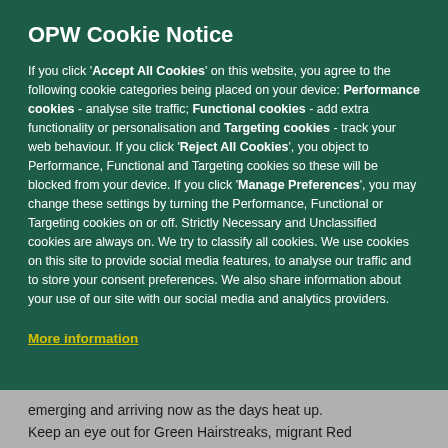OPW Cookie Notice
If you click 'Accept All Cookies' on this website, you agree to the following cookie categories being placed on your device: Performance cookies - analyse site traffic; Functional cookies - add extra functionality or personalisation and Targeting cookies - track your web behaviour. If you click 'Reject All Cookies', you object to Performance, Functional and Targeting cookies so these will be blocked from your device. If you click 'Manage Preferences', you may change these settings by turning the Performance, Functional or Targeting cookies on or off. Strictly Necessary and Unclassified cookies are always on. We try to classify all cookies. We use cookies on this site to provide social media features, to analyse our traffic and to store your consent preferences. We also share information about your use of our site with our social media and analytics providers.
More information
emerging and arriving now as the days heat up. Keep an eye out for Green Hairstreaks, migrant Red